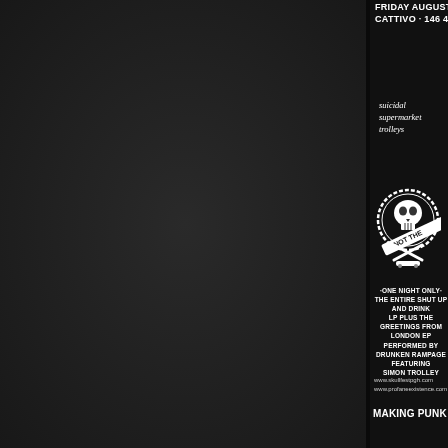[Figure (photo): Dark background event flyer — left portion showing dark grey textured panel, right portion showing partial punk music event poster with skull logo and band information]
FRIDAY AUGUST 19 · CATTIVO · 146 44TH
suicidal supermarket trolleys
[Figure (illustration): Skull and crossbones logo with circular badge design and banner reading NOT THE]
·ONE NIGHT ONLY· THE ENTIRE SHUT UP AND DRINK LP PLUS THE GREETINGS FROM LONDON EP PERFORMED BY DRUNKEN RAMPAGE FEATURING SIMON TROLLEY
www.skullfestpgh.com
www.profaneexistence.com
MAKING PUNK A TH